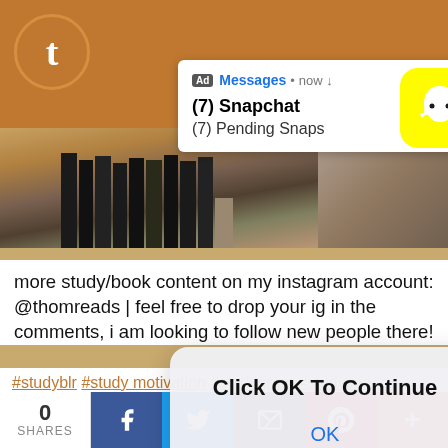[Figure (screenshot): Tumblr orange top bar with circular Tumblr 't' logo icon on the left]
[Figure (screenshot): Ad notification popup showing Snapchat message: '(7) Snapchat' and '(7) Pending Snaps' with Snapchat yellow ghost icon on the right and X close button]
[Figure (screenshot): Background bookshelf photo with books visible]
[Figure (screenshot): Modal dialog overlay: 'Click OK To Continue' with OK button in blue text]
more study/book content on my instagram account: @thomreads | feel free to drop your ig in the comments, i am looking to follow new people there!
#studyblr #study motivation #studygram #studyspo #studying #bookstagram #langblr #study #study
[Figure (screenshot): Bottom social share bar with 0 SHARES count, Facebook, Twitter, Email, Pinterest, and More buttons]